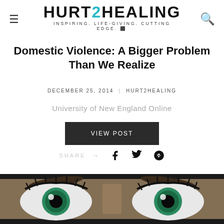HURT2HEALING — INSPIRING. LIFE-GIVING. CUTTING EDGE.
Domestic Violence: A Bigger Problem Than We Realize
DECEMBER 25, 2014 | HURT2HEALING
University of New England Online
VIEW POST
SHARE →
[Figure (photo): Close-up photo of a woman's eyes with striking green irises and long lashes against a dark background]